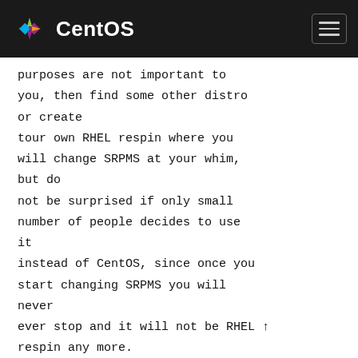CentOS
purposes are not important to you, then find some other distro or create
tour own RHEL respin where you will change SRPMS at your whim, but do
not be surprised if only small number of people decides to use it
instead of CentOS, since once you start changing SRPMS you will never
ever stop and it will not be RHEL respin any more.